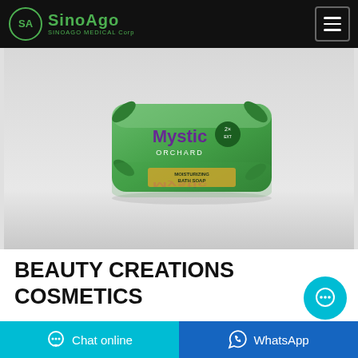SinoAgo SINOAGO MEDICAL Corp
[Figure (photo): Green packaged Mystic Orchard moisturizing bath soap bar with reflection on white surface]
BEAUTY CREATIONS COSMETICS
Chat online | WhatsApp